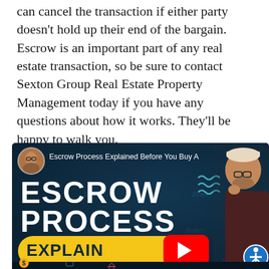can cancel the transaction if either party doesn't hold up their end of the bargain. Escrow is an important part of any real estate transaction, so be sure to contact Sexton Group Real Estate Property Management today if you have any questions about how it works. They'll be happy to walk you.
[Figure (screenshot): YouTube video thumbnail for 'Escrow Process Explained Before You Buy A' featuring a man with glasses, large bold text reading 'ESCROW PROCESS' on a dark teal background with a yellow pill-shaped button reading 'EXPLAINED' and a YouTube play button overlay. Fiverr watermarks visible.]